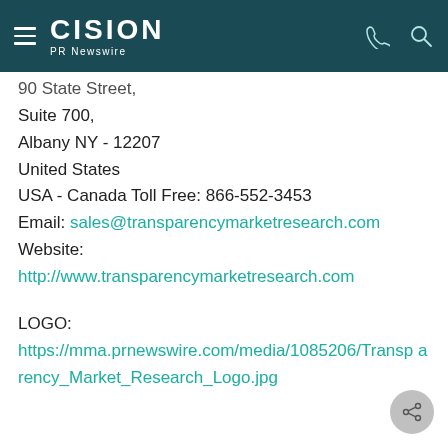CISION PR Newswire
90 State Street,
Suite 700,
Albany NY - 12207
United States
USA - Canada Toll Free: 866-552-3453
Email: sales@transparencymarketresearch.com
Website:
http://www.transparencymarketresearch.com
LOGO:
https://mma.prnewswire.com/media/1085206/Transparency_Market_Research_Logo.jpg